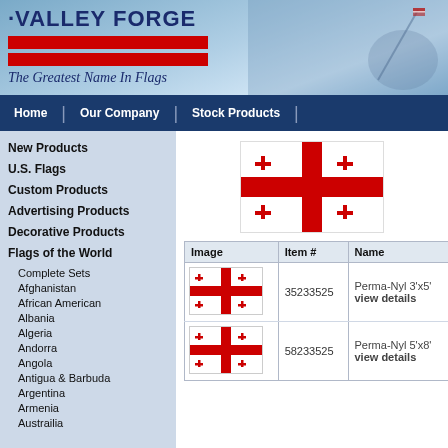[Figure (logo): Valley Forge flag company banner header with logo, two red bars, tagline 'The Greatest Name In Flags', and a background image of soldiers raising a flag]
Home | Our Company | Stock Products |
New Products
U.S. Flags
Custom Products
Advertising Products
Decorative Products
Flags of the World
Complete Sets
Afghanistan
African American
Albania
Algeria
Andorra
Angola
Antigua & Barbuda
Argentina
Armenia
Austrailia
[Figure (illustration): Large Georgia flag showing white background with bold red cross and four small red crosses in each quadrant]
| Image | Item # | Name |
| --- | --- | --- |
| [Georgia flag image] | 35233525 | Perma-Nyl 3'x5'
view details |
| [Georgia flag image] | 58233525 | Perma-Nyl 5'x8'
view details |